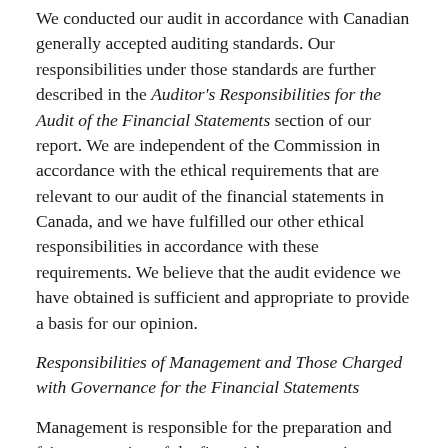We conducted our audit in accordance with Canadian generally accepted auditing standards. Our responsibilities under those standards are further described in the Auditor's Responsibilities for the Audit of the Financial Statements section of our report. We are independent of the Commission in accordance with the ethical requirements that are relevant to our audit of the financial statements in Canada, and we have fulfilled our other ethical responsibilities in accordance with these requirements. We believe that the audit evidence we have obtained is sufficient and appropriate to provide a basis for our opinion.
Responsibilities of Management and Those Charged with Governance for the Financial Statements
Management is responsible for the preparation and fair presentation of the financial statements in accordance with Canadian public sector accounting standards, and for such internal control as management determines is necessary to enable the preparation of financial statements that are free